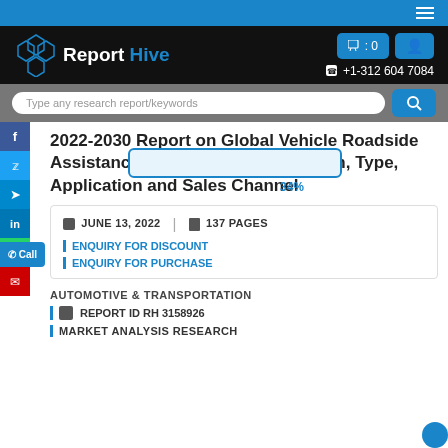[Figure (screenshot): Report Hive website header with logo, navigation, cart, user icon, phone number, and search bar]
2022-2030 Report on Global Vehicle Roadside Assistance Market by Player, Region, Type, Application and Sales Channel
JUNE 13, 2022 | 137 PAGES
ENQUIRY FOR DISCOUNT
ENQUIRY FOR PURCHASE
AUTOMOTIVE & TRANSPORTATION
REPORT ID RH 3158926
MARKET ANALYSIS RESEARCH